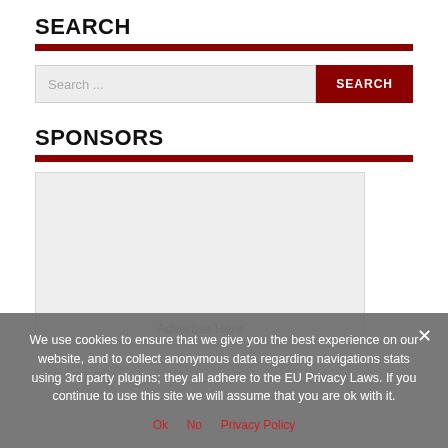SEARCH
[Figure (screenshot): Search input field with placeholder 'Search ...' and a dark red SEARCH button]
SPONSORS
[Figure (other): Light gray advertisement placeholder box with 'Advertise Here' text]
We use cookies to ensure that we give you the best experience on our website, and to collect anonymous data regarding navigations stats using 3rd party plugins; they all adhere to the EU Privacy Laws. If you continue to use this site we will assume that you are ok with it.
Ok  No  Privacy Policy